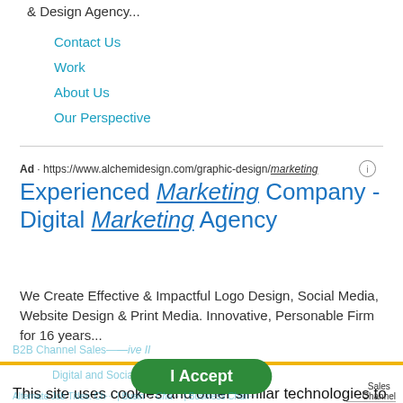& Design Agency...
Contact Us
Work
About Us
Our Perspective
Ad · https://www.alchemidesign.com/graphic-design/marketing
Experienced Marketing Company - Digital Marketing Agency
We Create Effective & Impactful Logo Design, Social Media, Website Design & Print Media. Innovative, Personable Firm for 16 years...
Digital and Social
This site uses cookies and other similar technologies to provide site functionality, analyze traffic and usage, and deliver content tailored to your interests. | Learn More
B2B Channel Sales — drive II
Alternate Job Titles: Cha... | Business Cha... Sales Channel...
I Accept